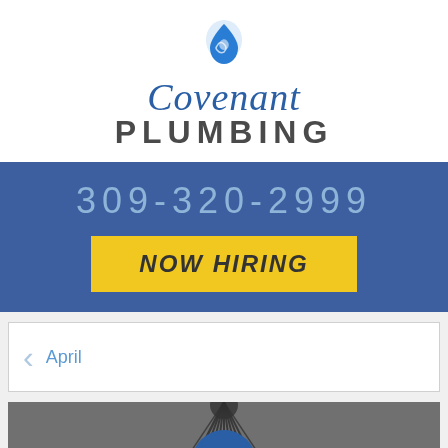[Figure (logo): Covenant Plumbing logo with blue water droplet icon above stylized script 'Covenant' in blue and bold 'PLUMBING' in dark gray]
309-320-2999
NOW HIRING
April
[Figure (photo): Dark background with drain cleaning brush image. Overlaid text reads: 'Time For A Drain Cleaning Servi... Common C... Of Clogs |' with a hamburger menu button and blue chat bubble with question mark in lower right corner.]